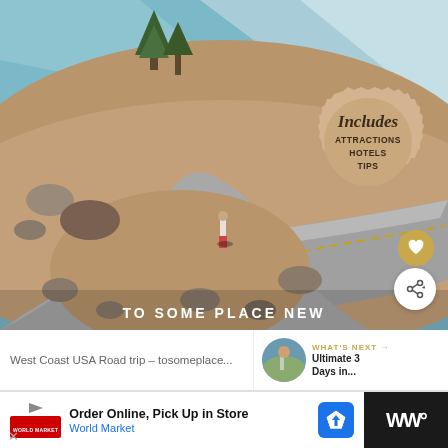[Figure (photo): Aerial view of a winding road through a mountainous rocky landscape, person standing on the road, snow-capped mountains and trees in background. Text overlay at bottom reads 'TO SOME PLACE NEW'. Badge overlay reads 'Includes ATTRACTIONS HOTELS TIPS'. Heart and share buttons on right side.]
West Coast USA Road trip – tosomeplace...
WHAT'S NEXT → Ultimate 3 Days in...
Order Online, Pick Up in Store World Market